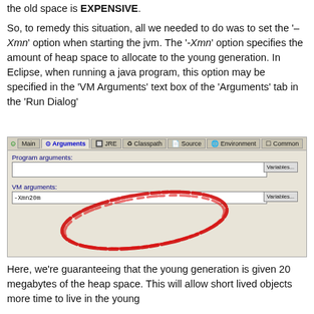the old space is EXPENSIVE.
So, to remedy this situation, all we needed to do was to set the '–Xmn' option when starting the jvm. The '-Xmn' option specifies the amount of heap space to allocate to the young generation. In Eclipse, when running a java program, this option may be specified in the 'VM Arguments' text box of the 'Arguments' tab in the 'Run Dialog'
[Figure (screenshot): Eclipse Run Dialog screenshot showing Arguments tab with VM arguments field containing -Xmn20m, circled in red.]
Here, we're guaranteeing that the young generation is given 20 megabytes of the heap space. This will allow short lived objects more time to live in the young